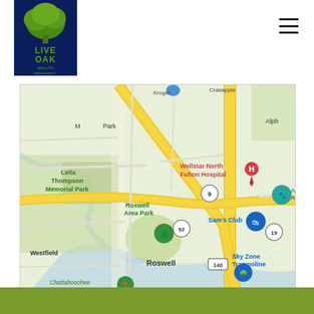[Figure (logo): Live Oak Wealth Management logo — green tree on dark navy blue background with 'LIVE OAK' text and 'WEALTH MANAGEMENT' subtitle]
[Figure (map): Google Maps view of Roswell, Georgia area showing Leita Thompson Memorial Park, Wellstar North Fulton Hospital, Roswell Area Park, Sam's Club, Sky Zone Trampoline, Chattahoochee Nature Center, Riverside Park, Westfield, and road markers including routes 9, 92, 19, and 140. Yellow highways visible on green/white street map.]